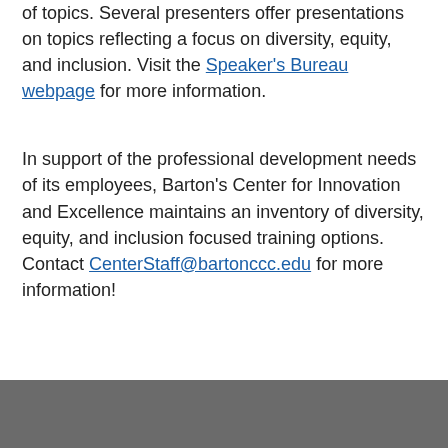of topics. Several presenters offer presentations on topics reflecting a focus on diversity, equity, and inclusion. Visit the Speaker's Bureau webpage for more information.
In support of the professional development needs of its employees, Barton's Center for Innovation and Excellence maintains an inventory of diversity, equity, and inclusion focused training options. Contact CenterStaff@bartonccc.edu for more information!